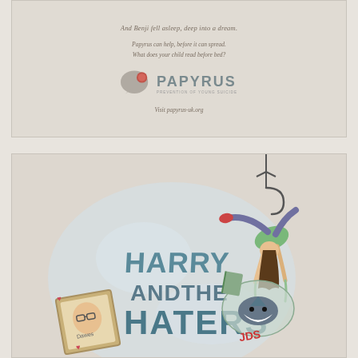[Figure (illustration): PAPYRUS Prevention of Young Suicide advertisement. Beige/tan background card showing italic text taglines, the PAPYRUS logo with speech bubble icon, organization name and subtitle, and website URL.]
And Benji fell asleep, deep into a dream.
Papyrus can help, before it can spread.
What does your child read before bed?
[Figure (logo): PAPYRUS logo: a grey speech bubble with a red/pink circle accent on the right, next to bold teal-grey text reading PAPYRUS with subtitle PREVENTION OF YOUNG SUICIDE]
Visit papyrus-uk.org
[Figure (illustration): Book cover illustration for 'Harry and the Haters'. Sandy/beige background with a large pale blue-white cloud circle in the center. Large hand-lettered teal/blue-grey text reads HARRY AND THE HATERS. A figure hangs upside down from a fishing hook at the top right. A framed photo portrait with hearts sits bottom left. A speech bubble with a shark/monster inside sits on the right. Soft watercolor illustration style.]